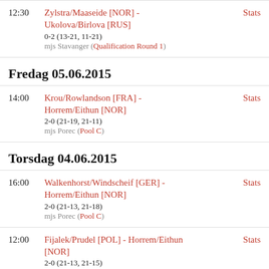12:30 Zylstra/Maaseide [NOR] - Ukolova/Birlova [RUS] 0-2 (13-21, 11-21) mjs Stavanger (Qualification Round 1) Stats
Fredag 05.06.2015
14:00 Krou/Rowlandson [FRA] - Horrem/Eithun [NOR] 2-0 (21-19, 21-11) mjs Porec (Pool C) Stats
Torsdag 04.06.2015
16:00 Walkenhorst/Windscheif [GER] - Horrem/Eithun [NOR] 2-0 (21-13, 21-18) mjs Porec (Pool C) Stats
12:00 Fijalek/Prudel [POL] - Horrem/Eithun [NOR] 2-0 (21-13, 21-15) mjs Porec (Pool C) Stats
Onsdag 03.06.2015
Horrem/Eithun [NOR] - Kantor/Losiak